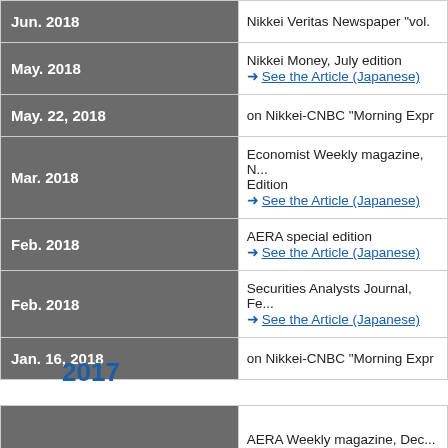| Date | Publication |
| --- | --- |
| Jun. 2018 | Nikkei Veritas Newspaper "vol. |
| May. 2018 | Nikkei Money, July edition
→ See the Article (Japanese) |
| May. 22, 2018 | on Nikkei-CNBC "Morning Expr |
| Mar. 2018 | Economist Weekly magazine, N...
Edition
→ See the Article (Japanese) |
| Feb. 2018 | AERA special edition
→ See the Article (Japanese) |
| Feb. 2018 | Securities Analysts Journal, Fe...
→ See the Article (Japanese) |
| Jan. 16, 2018 | on Nikkei-CNBC "Morning Expr |
2017
| Date | Publication |
| --- | --- |
|  | AERA Weekly magazine, Dec... |